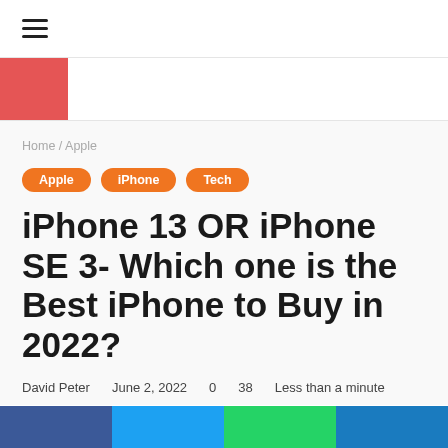≡
[Figure (logo): Red square logo block on white bar]
Home / Apple
Apple
iPhone
Tech
iPhone 13 OR iPhone SE 3- Which one is the Best iPhone to Buy in 2022?
David Peter   June 2, 2022   0   38   Less than a minute